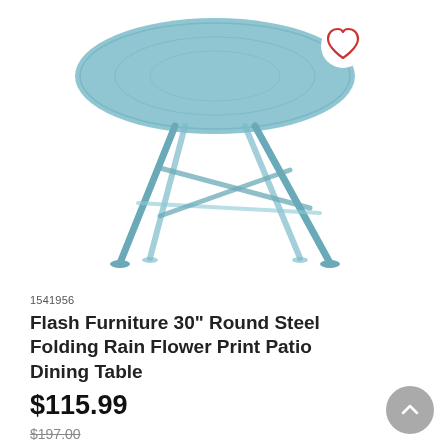[Figure (photo): Light blue round folding patio dining table with metal legs on white background, with a heart/wishlist icon in the top right corner of the image]
1541956
Flash Furniture 30" Round Steel Folding Rain Flower Print Patio Dining Table
$115.99
$197.00
5.0 (3)
MORE OPTIONS »